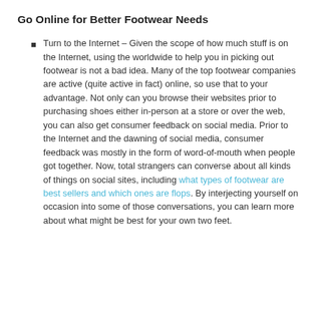Go Online for Better Footwear Needs
Turn to the Internet – Given the scope of how much stuff is on the Internet, using the worldwide to help you in picking out footwear is not a bad idea. Many of the top footwear companies are active (quite active in fact) online, so use that to your advantage. Not only can you browse their websites prior to purchasing shoes either in-person at a store or over the web, you can also get consumer feedback on social media. Prior to the Internet and the dawning of social media, consumer feedback was mostly in the form of word-of-mouth when people got together. Now, total strangers can converse about all kinds of things on social sites, including what types of footwear are best sellers and which ones are flops. By interjecting yourself on occasion into some of those conversations, you can learn more about what might be best for your own two feet.